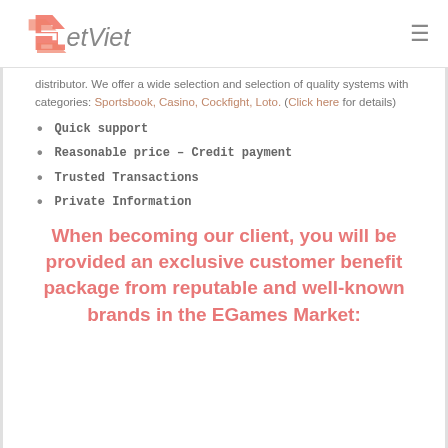SetViet
distributor. We offer a wide selection and selection of quality systems with categories: Sportsbook, Casino, Cockfight, Loto. (Click here for details)
Quick support
Reasonable price – Credit payment
Trusted Transactions
Private Information
When becoming our client, you will be provided an exclusive customer benefit package from reputable and well-known brands in the EGames Market: